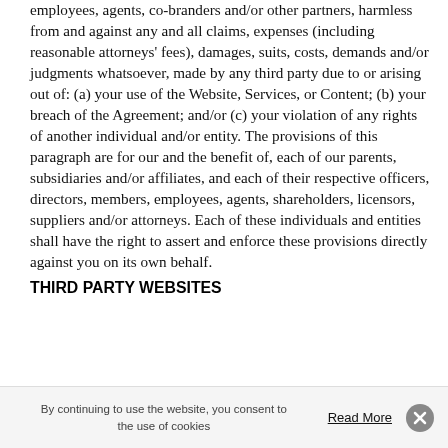employees, agents, co-branders and/or other partners, harmless from and against any and all claims, expenses (including reasonable attorneys' fees), damages, suits, costs, demands and/or judgments whatsoever, made by any third party due to or arising out of: (a) your use of the Website, Services, or Content; (b) your breach of the Agreement; and/or (c) your violation of any rights of another individual and/or entity. The provisions of this paragraph are for our and the benefit of, each of our parents, subsidiaries and/or affiliates, and each of their respective officers, directors, members, employees, agents, shareholders, licensors, suppliers and/or attorneys. Each of these individuals and entities shall have the right to assert and enforce these provisions directly against you on its own behalf.
THIRD PARTY WEBSITES
By continuing to use the website, you consent to the use of cookies